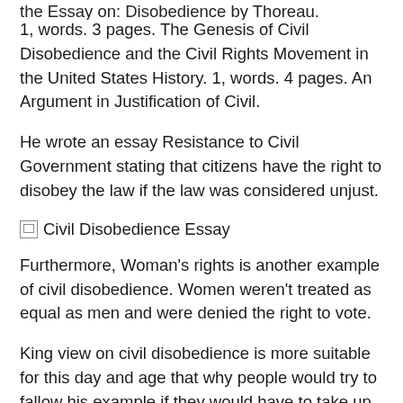the Essay on: Disobedience by Thoreau.
1, words. 3 pages. The Genesis of Civil Disobedience and the Civil Rights Movement in the United States History. 1, words. 4 pages. An Argument in Justification of Civil.
He wrote an essay Resistance to Civil Government stating that citizens have the right to disobey the law if the law was considered unjust.
[Figure (other): Broken image placeholder labeled 'Civil Disobedience Essay']
Furthermore, Woman's rights is another example of civil disobedience. Women weren't treated as equal as men and were denied the right to vote.
King view on civil disobedience is more suitable for this day and age that why people would try to fallow his example if they would have to take up civil disobedience.